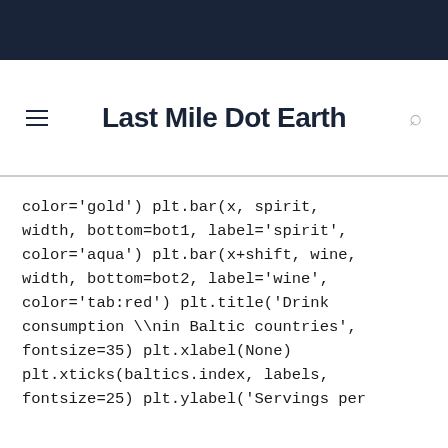Last Mile Dot Earth
color='gold') plt.bar(x, spirit, width, bottom=bot1, label='spirit', color='aqua') plt.bar(x+shift, wine, width, bottom=bot2, label='wine', color='tab:red') plt.title('Drink consumption \nin Baltic countries', fontsize=35) plt.xlabel(None) plt.xticks(baltics.index, labels, fontsize=25) plt.ylabel('Servings per